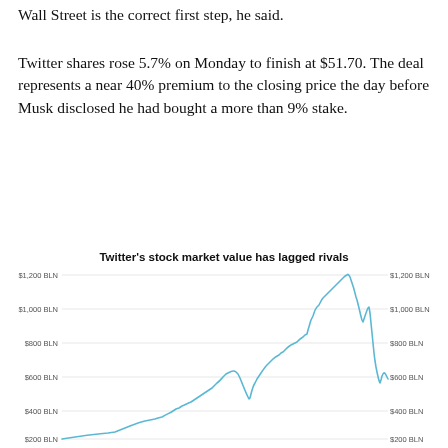Wall Street is the correct first step,  he said.
Twitter shares rose 5.7% on Monday to finish at $51.70. The deal represents a near 40% premium to the closing price the day before Musk disclosed he had bought a more than 9% stake.
[Figure (continuous-plot): Line chart showing Twitter's stock market value over time, rising from around $200 BLN to a peak near $1,100 BLN before declining to around $600 BLN. Y-axis labeled from $200 BLN to $1,200 BLN on both left and right sides.]